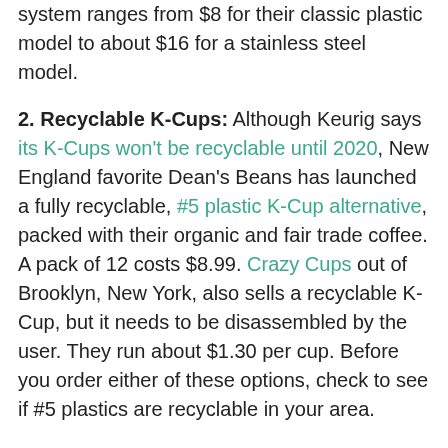system ranges from $8 for their classic plastic model to about $16 for a stainless steel model.
2. Recyclable K-Cups: Although Keurig says its K-Cups won't be recyclable until 2020, New England favorite Dean's Beans has launched a fully recyclable, #5 plastic K-Cup alternative, packed with their organic and fair trade coffee. A pack of 12 costs $8.99. Crazy Cups out of Brooklyn, New York, also sells a recyclable K-Cup, but it needs to be disassembled by the user. They run about $1.30 per cup. Before you order either of these options, check to see if #5 plastics are recyclable in your area.
3. Biodegradable and Compostable K-Cups: The Rogers Company offers OneCup, a K-Cup alternative made of 97 percent biodegradable materials filled with a variety of coffees. Canadian company Canterbury Coffee's